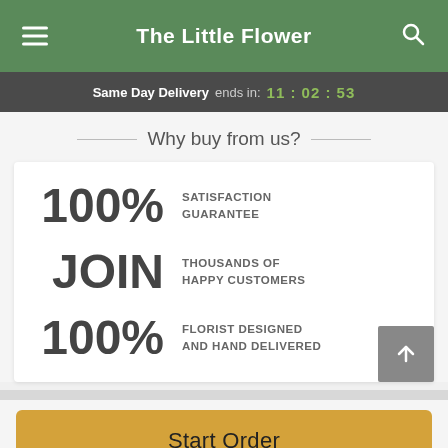The Little Flower
Same Day Delivery ends in: 11:02:53
Why buy from us?
100% SATISFACTION GUARANTEE
JOIN THOUSANDS OF HAPPY CUSTOMERS
100% FLORIST DESIGNED AND HAND DELIVERED
Start Order